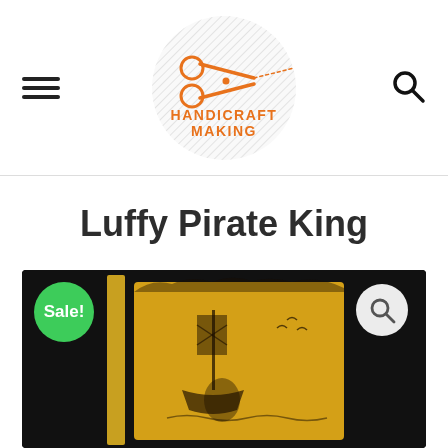[Figure (logo): Handicraft Making logo with scissors icon inside a grey hatched circle and orange text]
Luffy Pirate King
[Figure (photo): Product photo of a golden laser-cut Luffy Pirate King illuminated plaque on black background, with a green Sale! badge and search icon overlay]